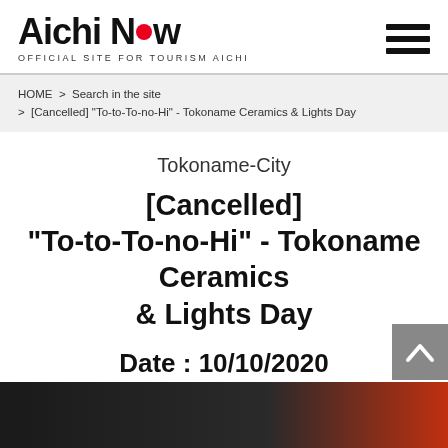Aichi Now — OFFICIAL SITE FOR TOURISM AICHI
HOME > Search in the site > [Cancelled] "To-to-To-no-Hi" - Tokoname Ceramics & Lights Day
Tokoname-City
[Cancelled] "To-to-To-no-Hi" - Tokoname Ceramics & Lights Day
Date : 10/10/2020
[Figure (photo): Bottom strip showing a dark background with ceramics/red pottery, partial image]